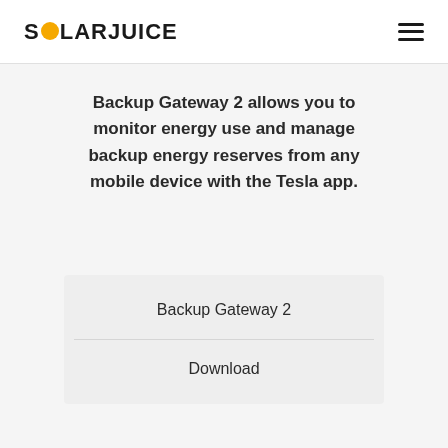SOLARJUICE
Backup Gateway 2 allows you to monitor energy use and manage backup energy reserves from any mobile device with the Tesla app.
| Backup Gateway 2 | Download |
| --- | --- |